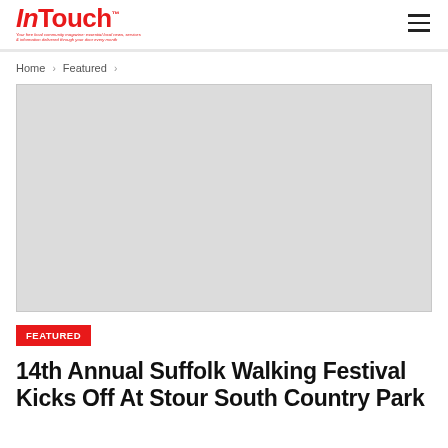InTouch — Your free local community magazine: essential local news, services & information delivered through your door every month
Home › Featured ›
[Figure (photo): Large placeholder image area (light grey rectangle), main article image]
FEATURED
14th Annual Suffolk Walking Festival Kicks Off At Stour South Country Park...